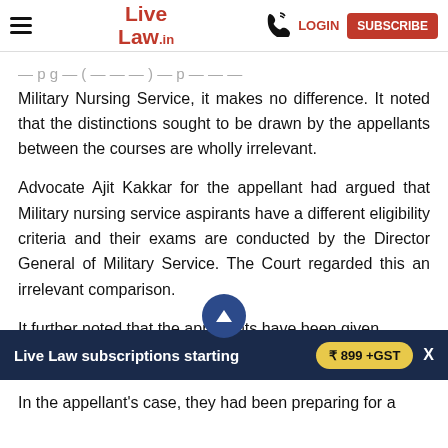Live Law | LOGIN | SUBSCRIBE
...pg... Military Nursing Service, it makes no difference. It noted that the distinctions sought to be drawn by the appellants between the courses are wholly irrelevant.
Advocate Ajit Kakkar for the appellant had argued that Military nursing service aspirants have a different eligibility criteria and their exams are conducted by the Director General of Military Service. The Court regarded this an irrelevant comparison.
It further noted that the appellants have been given sufficient time... the NEET UG...
In the appellant's case, they had been preparing for a